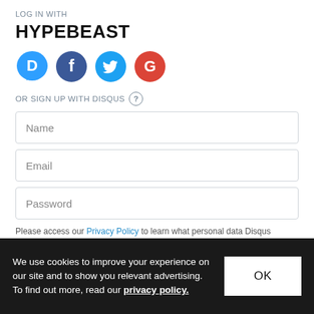LOG IN WITH
HYPEBEAST
[Figure (illustration): Four social login icons: Disqus (blue speech bubble with D), Facebook (purple circle with f), Twitter (blue circle with bird), Google (red circle with G)]
OR SIGN UP WITH DISQUS ?
Name
Email
Password
Please access our Privacy Policy to learn what personal data Disqus collects and your choices about how it is used. All users of our service are also subject to our Terms of Service.
We use cookies to improve your experience on our site and to show you relevant advertising. To find out more, read our privacy policy.
OK